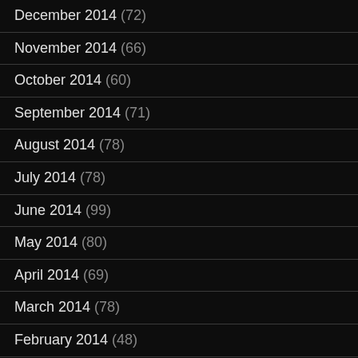December 2014 (72)
November 2014 (66)
October 2014 (60)
September 2014 (71)
August 2014 (78)
July 2014 (78)
June 2014 (99)
May 2014 (80)
April 2014 (69)
March 2014 (78)
February 2014 (48)
January 2014 (21)
December 2013 (1)